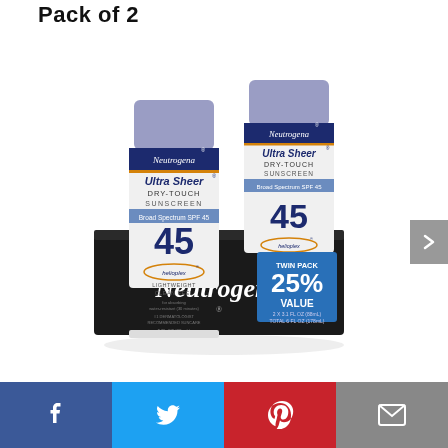Pack of 2
[Figure (photo): Neutrogena Ultra Sheer Dry-Touch Sunscreen SPF 45 twin pack product photo showing two tubes in a black retail box with '25% VALUE' badge, Twin Pack 2x3.1 fl oz (88mL) Total 6 fl oz (178mL)]
Facebook | Twitter | Pinterest | Email (social share bar)